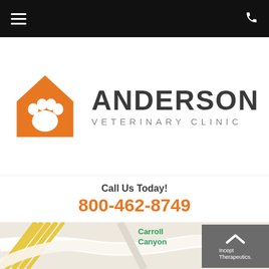Navigation bar with hamburger menu and phone icon
[Figure (logo): Anderson Veterinary Clinic logo — orange house/paw icon on left, 'ANDERSON' in large dark text and 'VETERINARY CLINIC' in smaller gray spaced text on right]
Call Us Today!
800-462-8749
[Figure (map): Partial street map showing Carroll Canyon label in green and Inceptive Therapeutics partial overlay box]